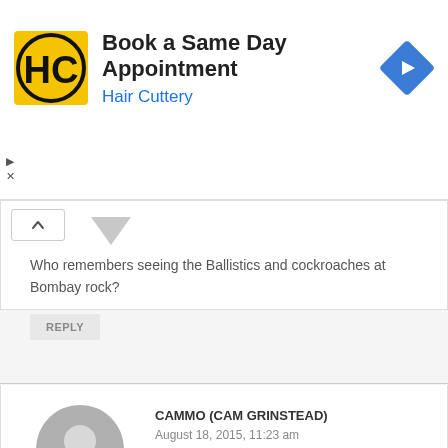[Figure (screenshot): Hair Cuttery advertisement banner: yellow square logo with HC letters, title 'Book a Same Day Appointment', subtitle 'Hair Cuttery' in blue, blue diamond navigation icon on right. Ad controls (play and close) on left side.]
Who remembers seeing the Ballistics and cockroaches at Bombay rock?
REPLY
CAMMO (CAM GRINSTEAD)
August 18, 2015, 11:23 am
Rocky, i do remember this night from a different perspective! Howdy Dog! I just loved playing at all of these venues. We (The